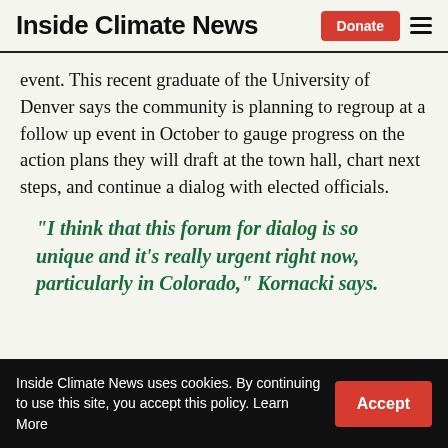Inside Climate News
event. This recent graduate of the University of Denver says the community is planning to regroup at a follow up event in October to gauge progress on the action plans they will draft at the town hall, chart next steps, and continue a dialog with elected officials.
“I think that this forum for dialog is so unique and it’s really urgent right now, particularly in Colorado,” Kornacki says.
Inside Climate News uses cookies. By continuing to use this site, you accept this policy. Learn More